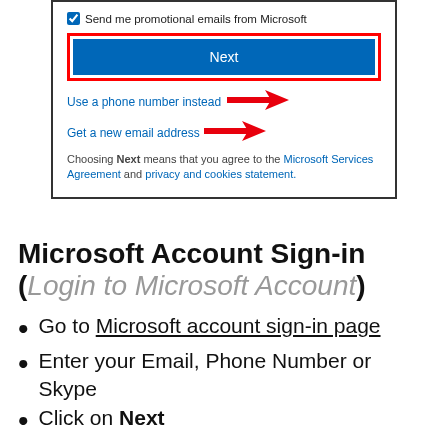[Figure (screenshot): Microsoft account signup screenshot showing a checkbox for promotional emails, a highlighted Next button with red border, links for 'Use a phone number instead' and 'Get a new email address' with red arrows pointing to them, and terms of service text.]
Microsoft Account Sign-in (Login to Microsoft Account)
Go to Microsoft account sign-in page
Enter your Email, Phone Number or Skype
Click on Next